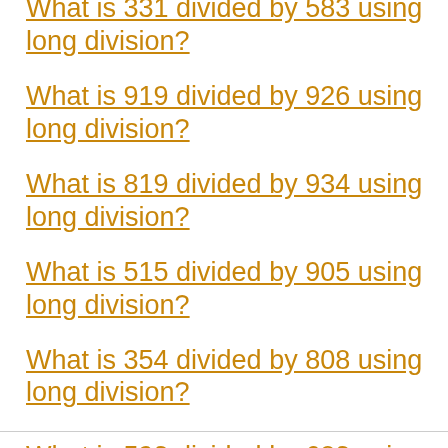What is 331 divided by 583 using long division?
What is 919 divided by 926 using long division?
What is 819 divided by 934 using long division?
What is 515 divided by 905 using long division?
What is 354 divided by 808 using long division?
What is 593 divided by 683 using long division?